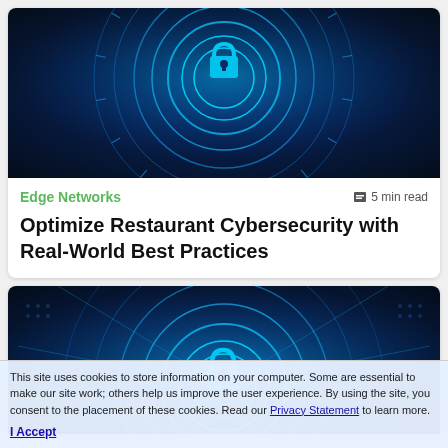[Figure (illustration): Cybersecurity themed image with a glowing blue padlock on a dark blue background with concentric circles and digital circuit patterns]
Edge Networks
5 min read
Optimize Restaurant Cybersecurity with Real-World Best Practices
[Figure (illustration): Second cybersecurity themed image with a glowing cyan padlock centered on a dark blue background with concentric circles and light ray patterns]
This site uses cookies to store information on your computer. Some are essential to make our site work; others help us improve the user experience. By using the site, you consent to the placement of these cookies. Read our Privacy Statement to learn more.
I Accept